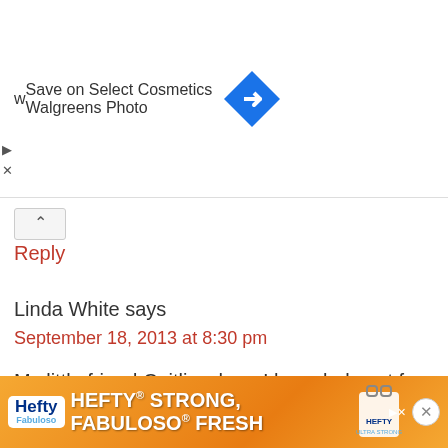[Figure (screenshot): Walgreens ad banner: 'Save on Select Cosmetics' with Walgreens Photo branding and navigation arrow icon]
Reply
Linda White says
September 18, 2013 at 8:30 pm
My little friend Caitlin whom I have babysat for 3 yrs
Reply
April G says
September 18, 2013 at 8:43 pm
[Figure (screenshot): Hefty advertisement banner: 'HEFTY STRONG, FABULOSO FRESH' with Hefty and Fabuloso branding]